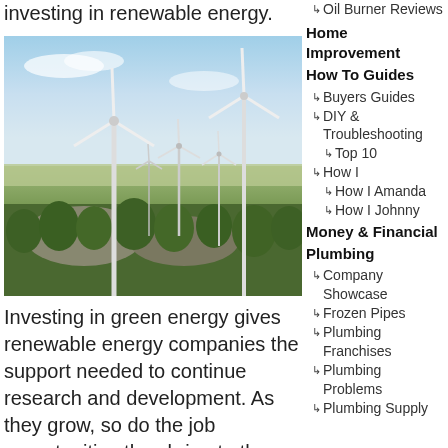investing in renewable energy.
[Figure (photo): Wind turbines on a rocky hillside with trees and open landscape under a blue sky.]
Investing in green energy gives renewable energy companies the support needed to continue research and development. As they grow, so do the job opportunities they bring to the area they're located in. Plus as an investor, you're getting in on hot trends that
Oil Burner Reviews
Home Improvement
How To Guides
Buyers Guides
DIY & Troubleshooting
Top 10
How I
How I Amanda
How I Johnny
Money & Financial
Plumbing
Company Showcase
Frozen Pipes
Plumbing Franchises
Plumbing Problems
Plumbing Supply